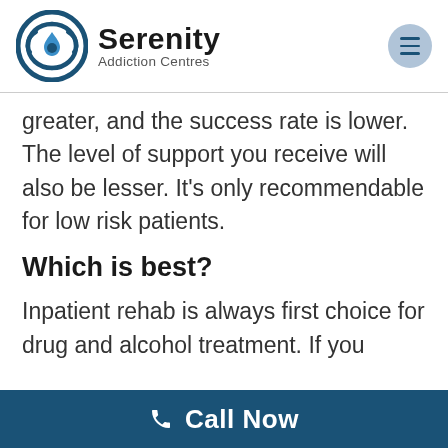[Figure (logo): Serenity Addiction Centres logo with circular blue emblem and hamburger menu icon]
greater, and the success rate is lower. The level of support you receive will also be lesser. It’s only recommendable for low risk patients.
Which is best?
Inpatient rehab is always first choice for drug and alcohol treatment. If you
Call Now